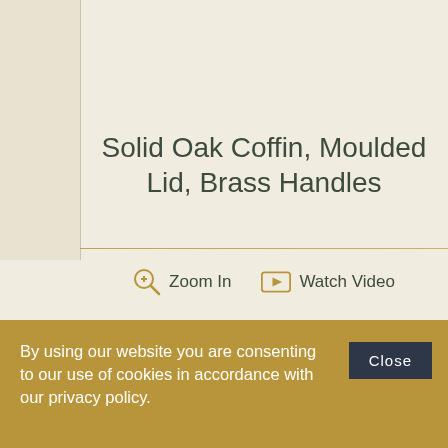Solid Oak Coffin, Moulded Lid, Brass Handles
[Figure (other): Zoom In icon (magnifying glass with plus sign)]
[Figure (other): Watch Video icon (play button in rectangle)]
By using our website you are consenting to our use of cookies in accordance with our privacy policy.
Close